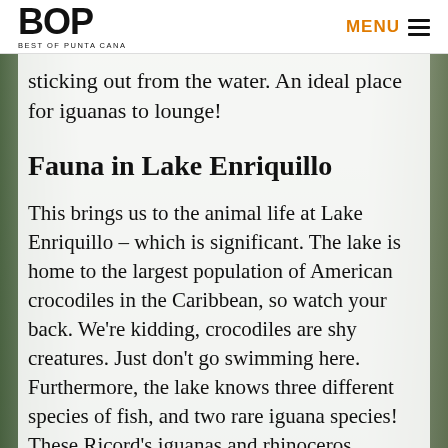BOP BEST OF PUNTA CANA | MENU
sticking out from the water. An ideal place for iguanas to lounge!
Fauna in Lake Enriquillo
This brings us to the animal life at Lake Enriquillo – which is significant. The lake is home to the largest population of American crocodiles in the Caribbean, so watch your back. We're kidding, crocodiles are shy creatures. Just don't go swimming here. Furthermore, the lake knows three different species of fish, and two rare iguana species! These Ricord's iguanas and rhinoceros iguanas both live on the Cabritos island in the middle. When it comes to crocodiles and